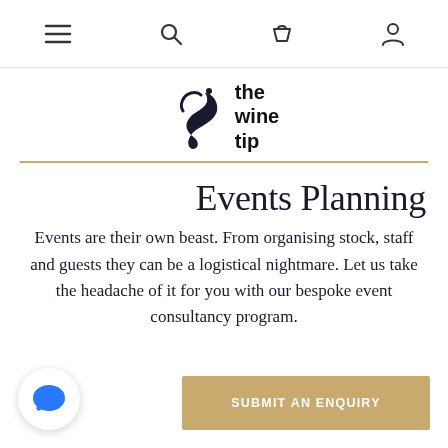Navigation bar with menu, search, cart, and account icons
[Figure (logo): The Wine Tip logo — stylized cork/corkscrew icon with text 'the wine tip']
Events Planning
Events are their own beast. From organising stock, staff and guests they can be a logistical nightmare. Let us take the headache of it for you with our bespoke event consultancy program.
[Figure (other): Blue chat bubble icon in a white circular button]
SUBMIT AN ENQUIRY